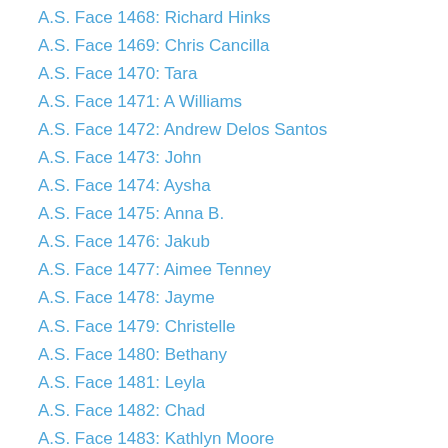A.S. Face 1468: Richard Hinks
A.S. Face 1469: Chris Cancilla
A.S. Face 1470: Tara
A.S. Face 1471: A Williams
A.S. Face 1472: Andrew Delos Santos
A.S. Face 1473: John
A.S. Face 1474: Aysha
A.S. Face 1475: Anna B.
A.S. Face 1476: Jakub
A.S. Face 1477: Aimee Tenney
A.S. Face 1478: Jayme
A.S. Face 1479: Christelle
A.S. Face 1480: Bethany
A.S. Face 1481: Leyla
A.S. Face 1482: Chad
A.S. Face 1483: Kathlyn Moore
A.S. Face 1484: Trisha
A.S. Face 1485: Doug Herndon
A.S. Face 1486: Michele Milam
A.S. Face 1487: Bradley "Jay" Ford